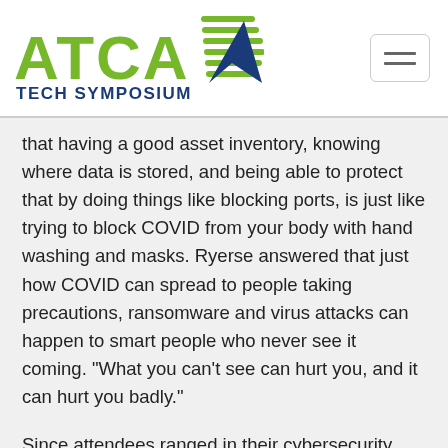[Figure (logo): ATCA Tech Symposium logo with green ATCA letters and a stylized blue/green arrow/wing graphic]
that having a good asset inventory, knowing where data is stored, and being able to protect that by doing things like blocking ports, is just like trying to block COVID from your body with hand washing and masks. Ryerse answered that just how COVID can spread to people taking precautions, ransomware and virus attacks can happen to smart people who never see it coming. "What you can't see can hurt you, and it can hurt you badly."
Since attendees ranged in their cybersecurity knowledge, Jones asked the panelists to share some insights or tips to put them on a more secure path. Grim shared the